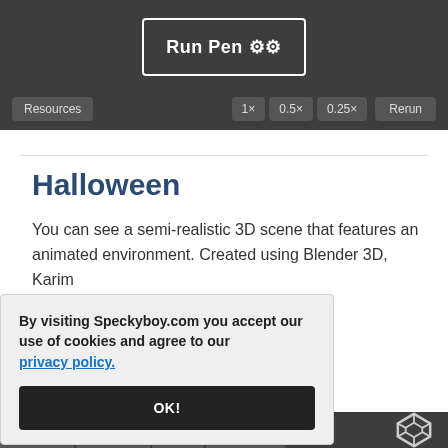[Figure (screenshot): CodePen-style dark toolbar with 'Run Pen' button and gear icons, plus Resources, 1x, 0.5x, 0.25x speed buttons and Rerun button]
Halloween
You can see a semi-realistic 3D scene that features an animated environment. Created using Blender 3D, Karim ...nding 3D ...icate sense of ...ne. Move your ...side this
By visiting Speckyboy.com you accept our use of cookies and agree to our privacy policy.
OK!
[Figure (screenshot): Bottom tab bar with HTML, SCSS, JS, Result tabs and CodePen icon at right]